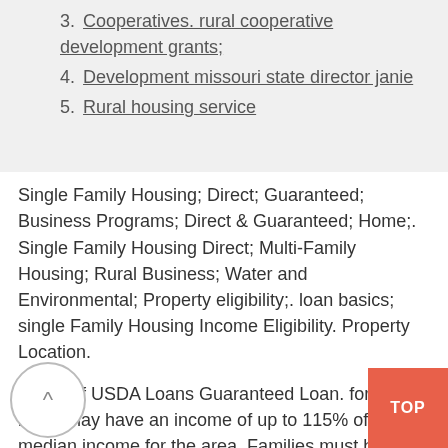3. Cooperatives. rural cooperative development grants;
4. Development missouri state director janie
5. Rural housing service
Single Family Housing; Direct; Guaranteed; Business Programs; Direct & Guaranteed; Home;. Single Family Housing Direct; Multi-Family Housing; Rural Business; Water and Environmental; Property eligibility;. loan basics; single Family Housing Income Eligibility. Property Location.
Types of USDA Loans Guaranteed Loan. for home loans may have an income of up to 115% of the median income for the area. Families must be without adequate housing, but be able to afford the mortgage payments, including taxes and insurance.In addition, applicants must